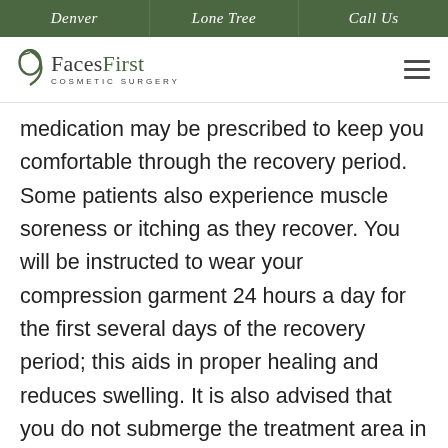Denver | Lone Tree | Call Us
[Figure (logo): Faces First Cosmetic Surgery logo with circular icon]
medication may be prescribed to keep you comfortable through the recovery period. Some patients also experience muscle soreness or itching as they recover. You will be instructed to wear your compression garment 24 hours a day for the first several days of the recovery period; this aids in proper healing and reduces swelling. It is also advised that you do not submerge the treatment area in water for a week after your tumescent liposuction procedure. Most patients